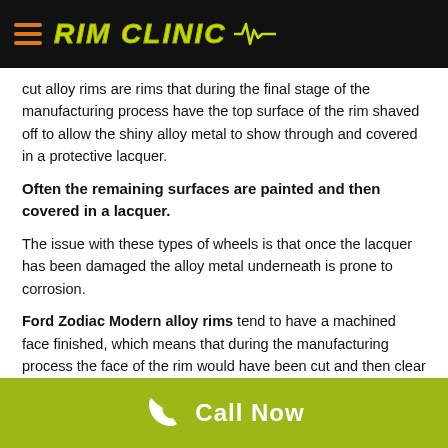RIM CLINIC
cut alloy rims are rims that during the final stage of the manufacturing process have the top surface of the rim shaved off to allow the shiny alloy metal to show through and covered in a protective lacquer.
Often the remaining surfaces are painted and then covered in a lacquer.
The issue with these types of wheels is that once the lacquer has been damaged the alloy metal underneath is prone to corrosion.
Ford Zodiac Modern alloy rims tend to have a machined face finished, which means that during the manufacturing process the face of the rim would have been cut and then clear coated by a CNC machine. We can offer a similar process to repair your rims at our central located workshop or organise pickup of your rims from you anywhere across
Call Now